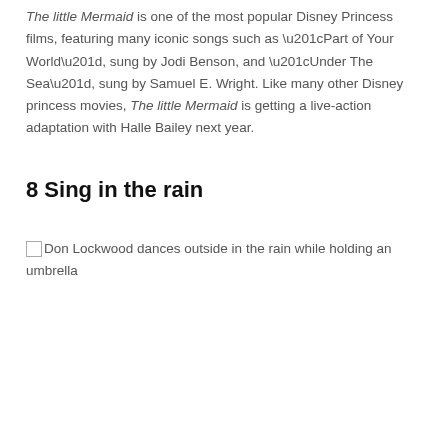The little Mermaid is one of the most popular Disney Princess films, featuring many iconic songs such as “Part of Your World”, sung by Jodi Benson, and “Under The Sea”, sung by Samuel E. Wright. Like many other Disney princess movies, The little Mermaid is getting a live-action adaptation with Halle Bailey next year.
8 Sing in the rain
[Figure (photo): Don Lockwood dances outside in the rain while holding an umbrella]